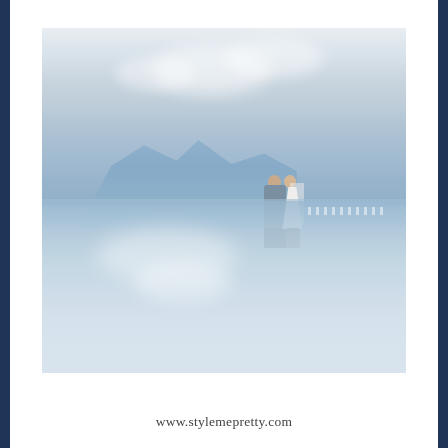[Figure (photo): A wedding couple (groom in grey suit, bride in white gown with veil) standing and kissing on what appears to be an infinity pool edge or terrace with a misty mountain backdrop. Their reflection is visible in the still water below, with clouds also reflected.]
www.stylemepretty.com